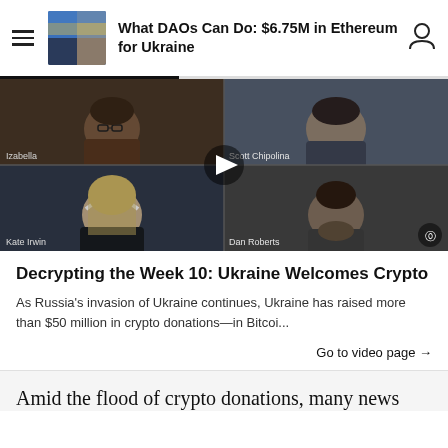What DAOs Can Do: $6.75M in Ethereum for Ukraine
[Figure (screenshot): Video thumbnail showing four participants in a video call: Izabella (top-left), Scott Chipolina (top-right), Kate Irwin (bottom-left), Dan Roberts (bottom-right), with a play button in the center and Decrypt logo in bottom-right corner.]
Decrypting the Week 10: Ukraine Welcomes Crypto
As Russia’s invasion of Ukraine continues, Ukraine has raised more than $50 million in crypto donations—in Bitcoi...
Go to video page →
Amid the flood of crypto donations, many news